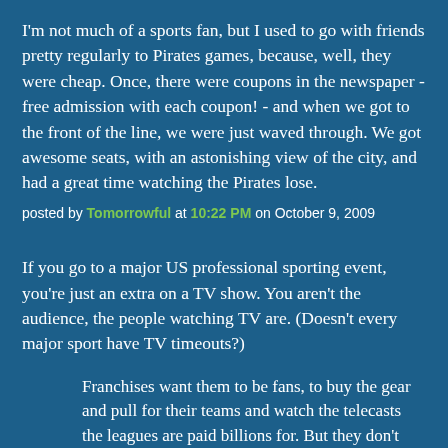I'm not much of a sports fan, but I used to go with friends pretty regularly to Pirates games, because, well, they were cheap. Once, there were coupons in the newspaper - free admission with each coupon! - and when we got to the front of the line, we were just waved through. We got awesome seats, with an astonishing view of the city, and had a great time watching the Pirates lose.
posted by Tomorrowful at 10:22 PM on October 9, 2009
If you go to a major US professional sporting event, you're just an extra on a TV show. You aren't the audience, the people watching TV are. (Doesn't every major sport have TV timeouts?)
Franchises want them to be fans, to buy the gear and pull for their teams and watch the telecasts the leagues are paid billions for. But they don't need